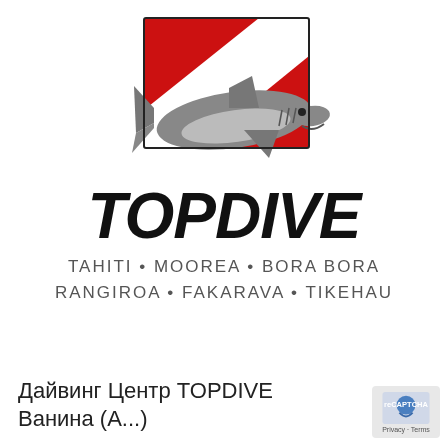[Figure (logo): TOPDIVE logo: a dive flag (red square with white diagonal stripe) with a grey shark overlapping it, forming the brand mark.]
TOPDIVE
TAHITI • MOOREA • BORA BORA
RANGIROA • FAKARAVA • TIKEHAU
Дайвинг Центр TOPDIVE
Ванина (А...